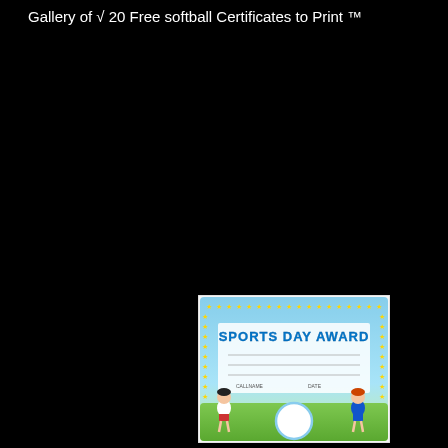Gallery of √ 20 Free softball Certificates to Print ™
[Figure (illustration): A Sports Day Award certificate with a blue and green background, yellow star border, two cartoon children playing sports on either side, a circular seal at the bottom center, and fields for name and date.]